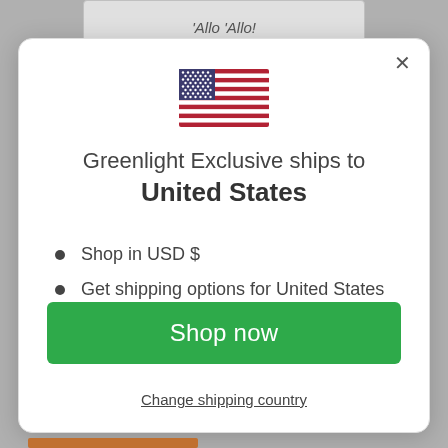'Allo 'Allo!
[Figure (illustration): US flag emoji/icon]
Greenlight Exclusive ships to United States
Shop in USD $
Get shipping options for United States
Shop now
Change shipping country